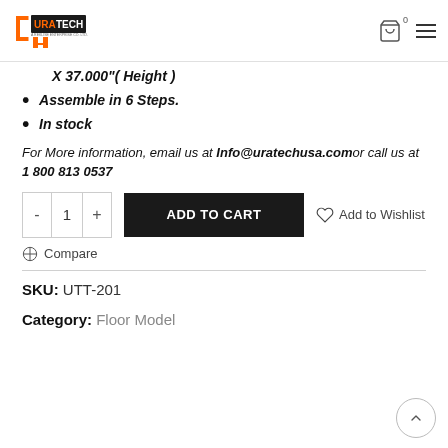Uratech logo, cart icon (0), hamburger menu
X 37.000"( Height )
Assemble in 6 Steps.
In stock
For More information, email us at Info@uratechusa.comor call us at 1 800 813 0537
- 1 + ADD TO CART ♡ Add to Wishlist
Compare
SKU: UTT-201
Category: Floor Model